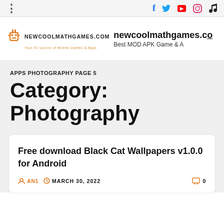⋮  f  🐦  ▶  ◯  ♪
[Figure (logo): NEWCOOLMATHGAMES.COM logo with orange robot icon]
newcoolmathgames.c... Best MOD APK Game & A...
APPS PHOTOGRAPHY PAGE 5
Category: Photography
Free download Black Cat Wallpapers v1.0.0 for Android
AN1  MARCH 30, 2022  0